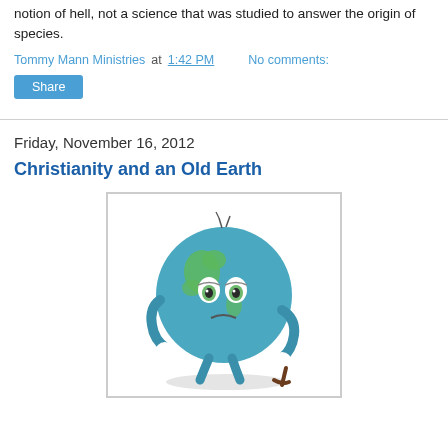notion of hell, not a science that was studied to answer the origin of species.
Tommy Mann Ministries at 1:42 PM    No comments:
Share
Friday, November 16, 2012
Christianity and an Old Earth
[Figure (illustration): Cartoon illustration of a tired-looking anthropomorphic Earth globe with arms, legs, and a walking cane, appearing old and weary, with cracks on top of the globe.]